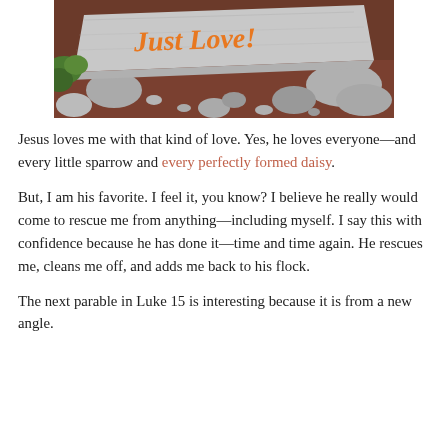[Figure (photo): A flat granite stone with orange graffiti text reading 'Just Love!' resting on rocky ground with small stones and pebbles around it.]
Jesus loves me with that kind of love. Yes, he loves everyone—and every little sparrow and every perfectly formed daisy.
But, I am his favorite. I feel it, you know? I believe he really would come to rescue me from anything—including myself. I say this with confidence because he has done it—time and time again. He rescues me, cleans me off, and adds me back to his flock.
The next parable in Luke 15 is interesting because it is from a new angle.